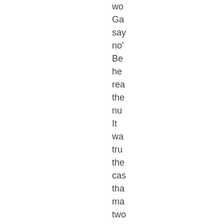wo
Ga
say
no'
Be
he
rea
the
nu
It
wa
tru
the
cas
tha
ma
two